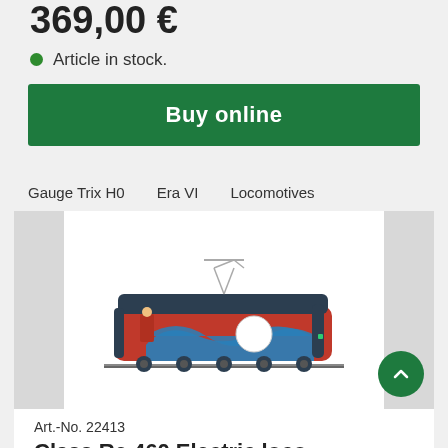369,00 €
Article in stock.
Buy online
Gauge Trix H0
Era VI
Locomotives
[Figure (photo): Side view of a red electric locomotive (model train, Trix H0 scale) with blue decorative arc and circular logo on the body, pantograph visible on top, on a track.]
Art.-No. 22413
Class Re 460 Electric locomotive